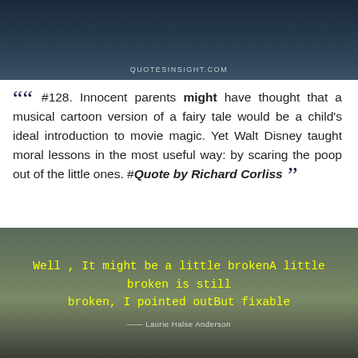[Figure (photo): Dark teal/navy bleacher or stadium seating photo with watermark text QUOTESINSIGHT.COM at bottom center]
““ #128. Innocent parents might have thought that a musical cartoon version of a fairy tale would be a child’s ideal introduction to movie magic. Yet Walt Disney taught moral lessons in the most useful way: by scaring the poop out of the little ones. #Quote by Richard Corliss ””
Parents
Child
Magic
[Figure (photo): Autumn forested hillside with a castle or building at the bottom, overlaid with yellow quote text and author attribution]